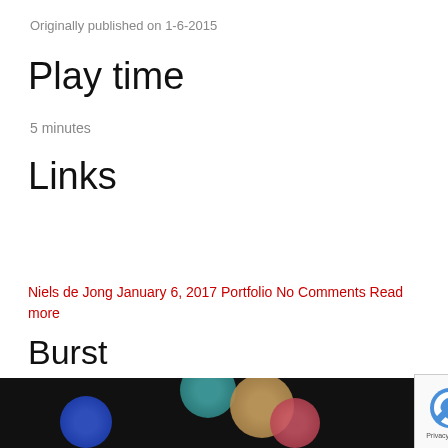Originally published on 1-6-2015
Play time
5 minutes
Links
Niels de Jong January 6, 2017 Portfolio No Comments Read more
Burst
[Figure (photo): Dark background photo with colorful bokeh circles (blue, teal, tan, pink) and a reCAPTCHA badge overlay in the bottom right corner]